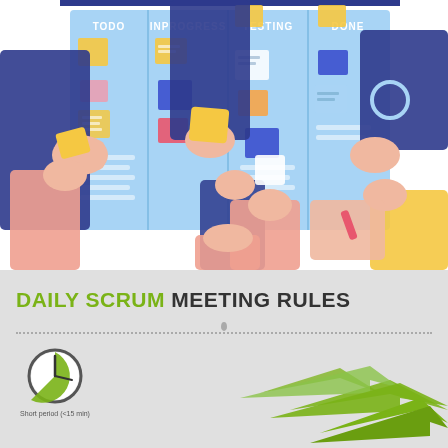[Figure (illustration): Illustration of multiple hands reaching toward a Kanban/Scrum board with columns labeled TODO, INPROGRESS, TESTING, DONE. Hands are placing and moving colorful sticky notes (yellow, red, blue, white) on the board. The board background is light blue with white divider lines and column headers.]
DAILY SCRUM MEETING RULES
[Figure (infographic): Infographic section showing Daily Scrum Meeting Rules icons: a clock/pie-chart icon labeled 'Short period (<15 min)' and large green arrows suggesting a cycle or flow process, partially cut off at the right edge.]